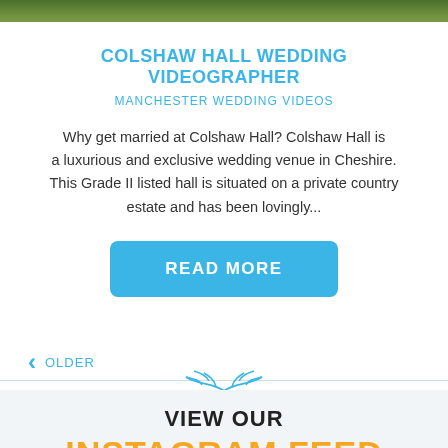[Figure (photo): Top portion of an outdoor photo, likely showing green foliage or garden]
COLSHAW HALL WEDDING VIDEOGRAPHER
MANCHESTER WEDDING VIDEOS
Why get married at Colshaw Hall? Colshaw Hall is a luxurious and exclusive wedding venue in Cheshire. This Grade II listed hall is situated on a private country estate and has been lovingly...
READ MORE
< OLDER
[Figure (illustration): Decorative leaf/branch ornament divider in blue]
VIEW OUR
INSTAGRAM FEED